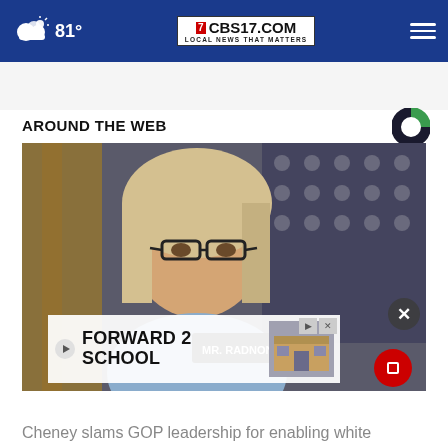81° CBS17.COM LOCAL NEWS THAT MATTERS
AROUND THE WEB
[Figure (photo): Woman with blonde hair and glasses seated at a congressional hearing, American flag visible in background, nameplate reading MR. RADNON visible on desk]
[Figure (screenshot): Advertisement overlay reading FORWARD 2 SCHOOL with school building image]
Cheney slams GOP leadership for enabling white